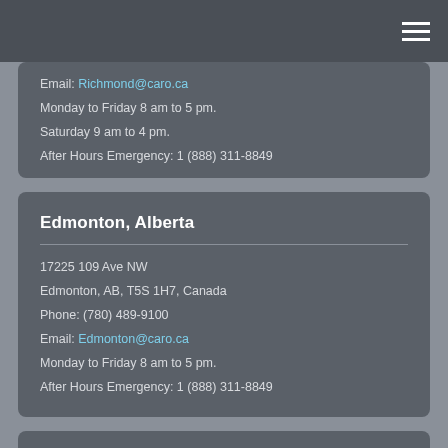Email: Richmond@caro.ca
Monday to Friday 8 am to 5 pm.
Saturday 9 am to 4 pm.
After Hours Emergency: 1 (888) 311-8849
Edmonton, Alberta
17225 109 Ave NW
Edmonton, AB, T5S 1H7, Canada
Phone: (780) 489-9100
Email: Edmonton@caro.ca
Monday to Friday 8 am to 5 pm.
After Hours Emergency: 1 (888) 311-8849
Burnaby, British Columbia
#108 – 4475 Wayburne Drive